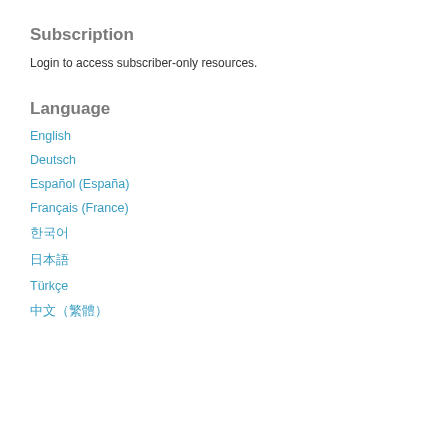Subscription
Login to access subscriber-only resources.
Language
English
Deutsch
Español (España)
Français (France)
한국어
日本語
Türkçe
中文（繁體）